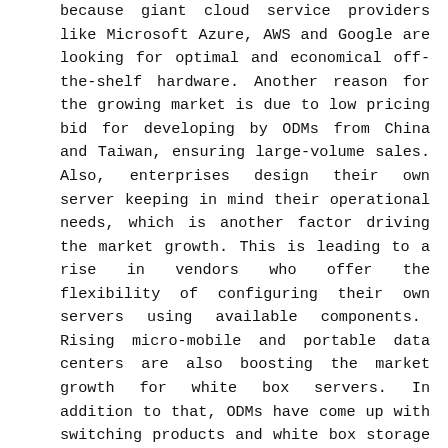because giant cloud service providers like Microsoft Azure, AWS and Google are looking for optimal and economical off-the-shelf hardware. Another reason for the growing market is due to low pricing bid for developing by ODMs from China and Taiwan, ensuring large-volume sales. Also, enterprises design their own server keeping in mind their operational needs, which is another factor driving the market growth. This is leading to a rise in vendors who offer the flexibility of configuring their own servers using available components.  Rising micro-mobile and portable data centers are also boosting the market growth for white box servers. In addition to that, ODMs have come up with switching products and white box storage that are energy-efficient and cost-effective, thereby growing the market. The rising trend in a software-defined data center is also